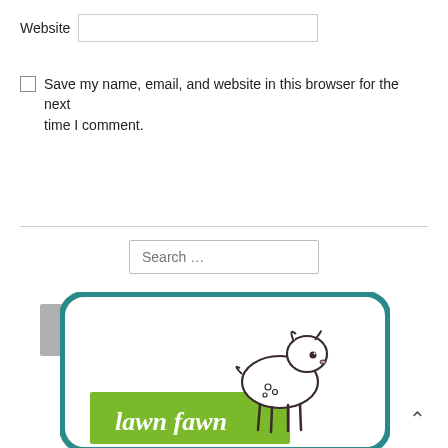Website
Save my name, email, and website in this browser for the next time I comment.
Post Comment
Search ...
[Figure (logo): Lawn Fawn brand logo: a white rounded rectangle with teal border, a hand-drawn fawn illustration, green banner with 'lawn fawn' script text]